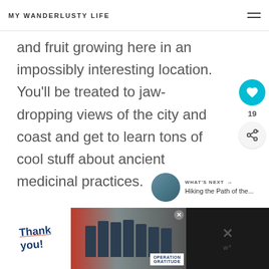MY WANDERLUSTY LIFE
and fruit growing here in an impossibly interesting location. You'll be treated to jaw-dropping views of the city and coast and get to learn tons of cool stuff about ancient medicinal practices.
19
WHAT'S NEXT → Hiking the Path of the...
[Figure (screenshot): Advertisement banner with 'Thank you!' text, firefighters photo, and Operation Gratitude logo]